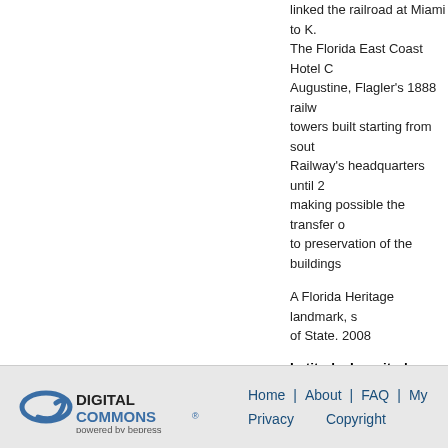linked the railroad at Miami to K. The Florida East Coast Hotel C Augustine, Flagler's 1888 railw towers built starting from sout Railway's headquarters until 2 making possible the transfer o to preservation of the buildings
A Florida Heritage landmark, s of State. 2008
Latitude, Longitude
29.89209722, -81.32097778
Rights Statement
http://rightsstatements.org/vocab/
Home | About | FAQ | My  Privacy  Copyright